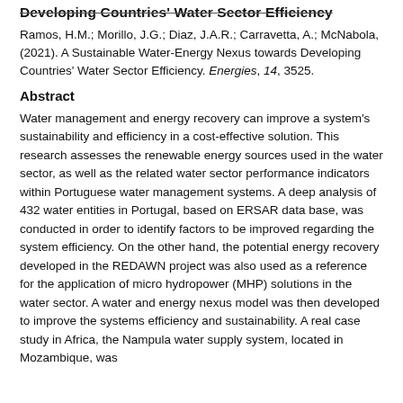Developing Countries' Water Sector Efficiency
Ramos, H.M.; Morillo, J.G.; Diaz, J.A.R.; Carravetta, A.; McNabola, (2021). A Sustainable Water-Energy Nexus towards Developing Countries' Water Sector Efficiency. Energies, 14, 3525.
Abstract
Water management and energy recovery can improve a system's sustainability and efficiency in a cost-effective solution. This research assesses the renewable energy sources used in the water sector, as well as the related water sector performance indicators within Portuguese water management systems. A deep analysis of 432 water entities in Portugal, based on ERSAR data base, was conducted in order to identify factors to be improved regarding the system efficiency. On the other hand, the potential energy recovery developed in the REDAWN project was also used as a reference for the application of micro hydropower (MHP) solutions in the water sector. A water and energy nexus model was then developed to improve the systems efficiency and sustainability. A real case study in Africa, the Nampula water supply system, located in Mozambique, was